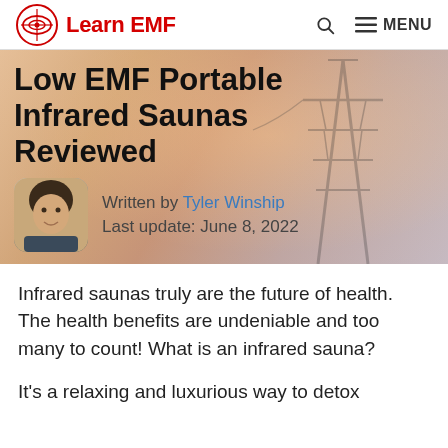Learn EMF — MENU
[Figure (photo): Hero banner with warm orange-pink gradient sky background and power transmission tower silhouette on the right]
Low EMF Portable Infrared Saunas Reviewed
Written by Tyler Winship
Last update: June 8, 2022
Infrared saunas truly are the future of health. The health benefits are undeniable and too many to count! What is an infrared sauna?
It's a relaxing and luxurious way to detox